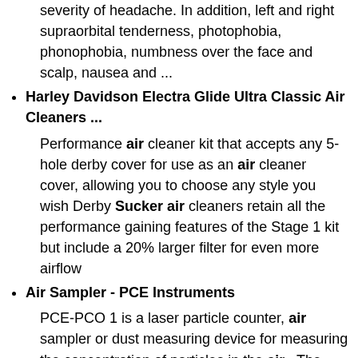severity of headache. In addition, left and right supraorbital tenderness, photophobia, phonophobia, numbness over the face and scalp, nausea and ...
Harley Davidson Electra Glide Ultra Classic Air Cleaners ...
Performance air cleaner kit that accepts any 5-hole derby cover for use as an air cleaner cover, allowing you to choose any style you wish Derby Sucker air cleaners retain all the performance gaining features of the Stage 1 kit but include a 20% larger filter for even more airflow
Air Sampler - PCE Instruments
PCE-PCO 1 is a laser particle counter, air sampler or dust measuring device for measuring the concentration of particles in the air . The PCE-PCO 1 air sampler: - Measures 6 sizes of particles: 0.3 Âμm, 0.5 Âμm, 1.0 Âμm, 2.5 Âμm, 5.0 Âμm, 10